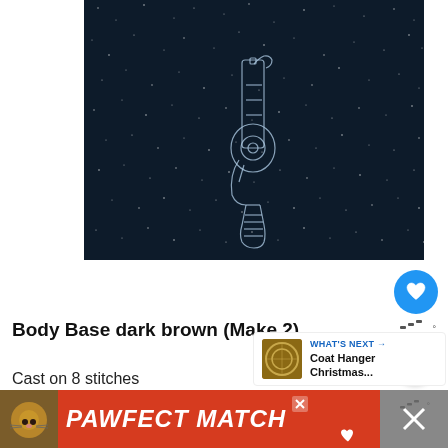[Figure (illustration): Dark navy star-field background with a line-art illustration of a revolver/pistol handgun rendered in white/light blue outline, positioned centrally. The image resembles a blueprint or constellation drawing on a dark night sky with scattered white star dots.]
Body Base dark brown (Make 2)
Cast on 8 stitches
P1 row
[Figure (photo): Thumbnail image of a coat hanger Christmas ornament or decoration, shown next to 'WHAT'S NEXT' label and caption 'Coat Hanger Christmas...']
[Figure (photo): Ad banner: PAWFECT MATCH advertisement with a cat photo on orange-red background]